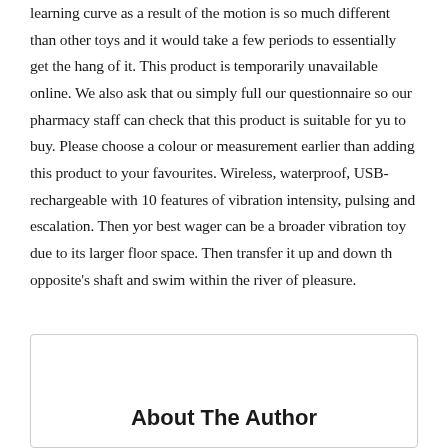learning curve as a result of the motion is so much different than other toys and it would take a few periods to essentially get the hang of it. This product is temporarily unavailable online. We also ask that you simply full our questionnaire so our pharmacy staff can check that this product is suitable for you to buy. Please choose a colour or measurement earlier than adding this product to your favourites. Wireless, waterproof, USB-rechargeable with 10 features of vibration intensity, pulsing and escalation. Then your best wager can be a broader vibration toy due to its larger floor space. Then transfer it up and down the opposite's shaft and swim within the river of pleasure.
About The Author